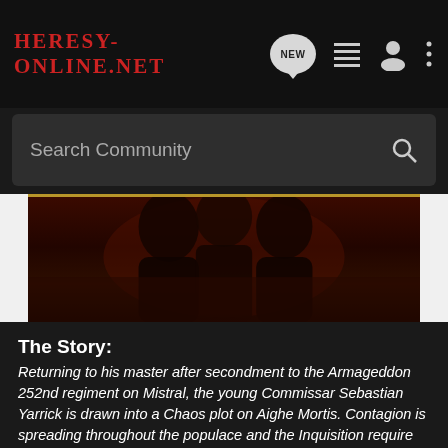Heresy-Online.net — navigation bar with NEW, list, person, and menu icons
Search Community
[Figure (photo): Dark fantasy banner image showing shadowy armored figures against a deep red-brown background with a gold horizontal line accent]
The Story:
Returning to his master after secondment to the Armageddon 252nd regiment on Mistral, the young Commissar Sebastian Yarrick is drawn into a Chaos plot on Aighe Mortis. Contagion is spreading throughout the populace and the Inquisition require someone with experience of fighting the archenemy. After the horrors he has faced, can Yarrick find the source of the danger and destroy it?
Read it because:
It's always great to see the origins of a character that will grow